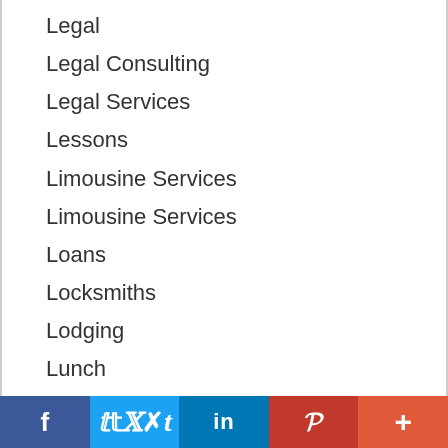Legal
Legal Consulting
Legal Services
Lessons
Limousine Services
Limousine Services
Loans
Locksmiths
Lodging
Lunch
Maids
Mailbox Repair
Manufacturing
Marina
f  t  in  P  +